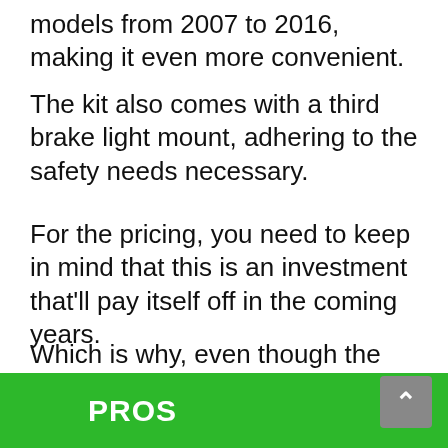models from 2007 to 2016, making it even more convenient.
The kit also comes with a third brake light mount, adhering to the safety needs necessary.
For the pricing, you need to keep in mind that this is an investment that'll pay itself off in the coming years.
Which is why, even though the price is pretty high, it still remains as a value for money product.
PROS